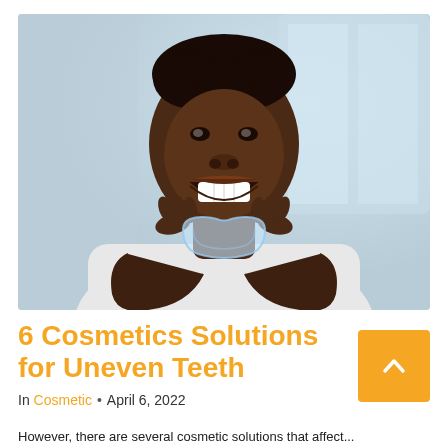[Figure (photo): A young Black man smiling and holding a clear dental aligner/retainer up to his mouth with both hands, wearing a white shirt, against a blurred light blue/grey background.]
6 Cosmetics Solutions for Uneven Teeth
In Cosmetic • April 6, 2022
However, there are several cosmetic solutions that affect...